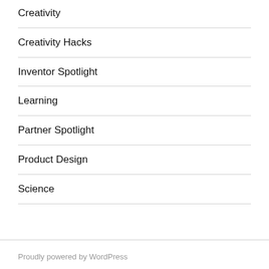Creativity
Creativity Hacks
Inventor Spotlight
Learning
Partner Spotlight
Product Design
Science
Proudly powered by WordPress